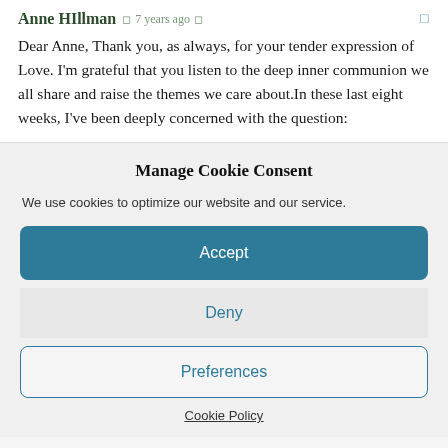Anne HIllman  ◻ 7 years ago  ◻
Dear Anne, Thank you, as always, for your tender expression of Love. I'm grateful that you listen to the deep inner communion we all share and raise the themes we care about.In these last eight weeks, I've been deeply concerned with the question:
Manage Cookie Consent
We use cookies to optimize our website and our service.
Accept
Deny
Preferences
Cookie Policy